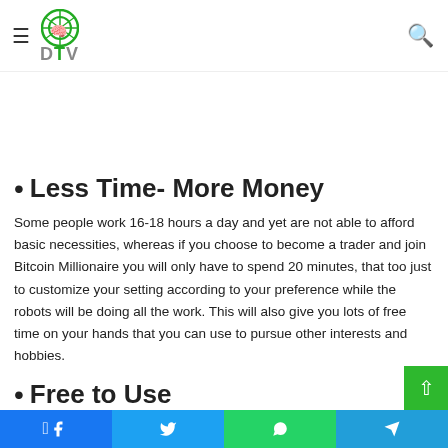DTV
prevent the users from making a wrong choice and saving the money invested by them.
Less Time- More Money
Some people work 16-18 hours a day and yet are not able to afford basic necessities, whereas if you choose to become a trader and join Bitcoin Millionaire you will only have to spend 20 minutes, that too just to customize your setting according to your preference while the robots will be doing all the work. This will also give you lots of free time on your hands that you can use to pursue other interests and hobbies.
Free to Use
Facebook Twitter WhatsApp Telegram